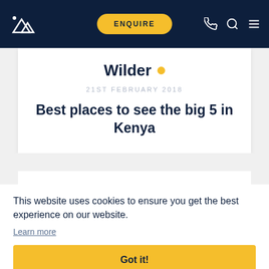Wilder — navigation bar with logo, ENQUIRE button, phone, search, menu icons
Wilder
21ST FEBRUARY 2018
Best places to see the big 5 in Kenya
This website uses cookies to ensure you get the best experience on our website.
Learn more
Got it!
A detailed itinerary in 24hrs